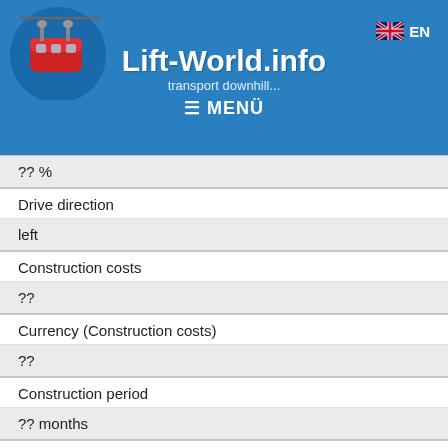Lift-World.info
| ?? % |
| Drive direction | left |
| Construction costs | ?? |
| Currency (Construction costs) | ?? |
| Construction period | ?? months |
| Seasontime | ❄ ☀ all-season |
| Evacuation ropeway |